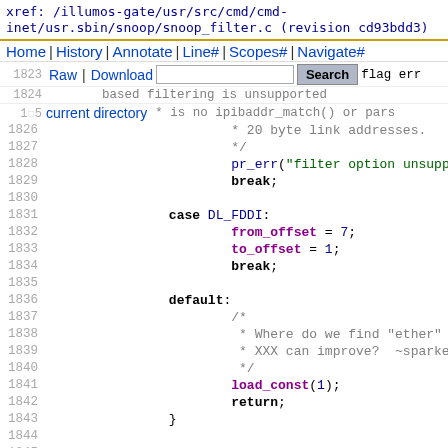xref: /illumos-gate/usr/src/cmd/cmd-inet/usr.sbin/snoop/snoop_filter.c (revision cd93bdd3)
Home | History | Annotate | Line# | Scopes# | Navigate#
Raw | Download | [search box] Search  flag err
current directory
source code lines 1823-1847